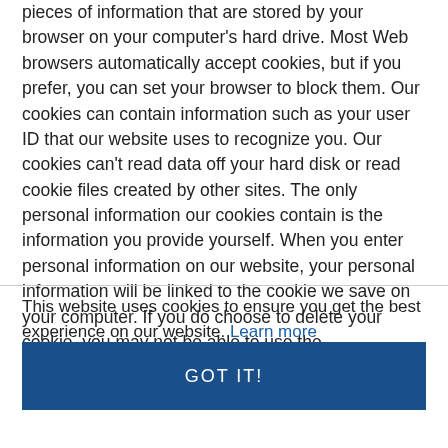Our site uses 'cookies' which are small files containing pieces of information that are stored by your browser on your computer's hard drive. Most Web browsers automatically accept cookies, but if you prefer, you can set your browser to block them. Our cookies can contain information such as your user ID that our website uses to recognize you. Our cookies can't read data off your hard disk or read cookie files created by other sites. The only personal information our cookies contain is the information you provide yourself. When you enter personal information on our website, your personal information will be linked to the cookie we save on your computer. If you do choose to delete your cookie, you may not be able to use the administrative features of the website.
This website uses cookies to ensure you get the best experience on our website. Learn more
GOT IT!